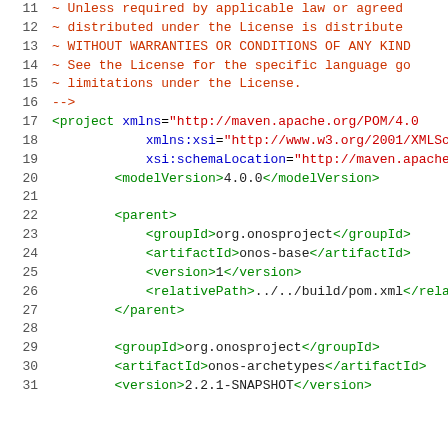Code listing: Maven POM XML file (lines 11-31). Lines 11-16 show Apache license comment block. Lines 17-31 show XML project element with xmlns attributes, modelVersion, parent element (groupId org.onosproject, artifactId onos-base, version 1, relativePath ../../build/pom.xml), and groupId, artifactId, version elements.